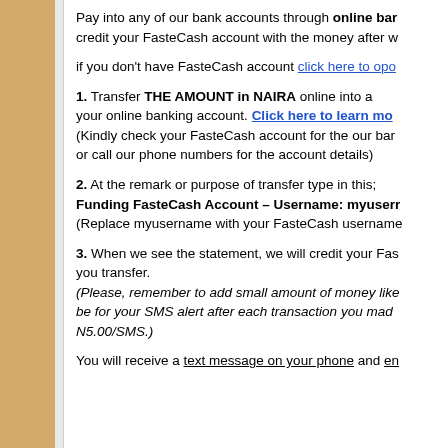Pay into any of our bank accounts through online banking or internet banking, we will credit your FasteCash account with the money after we confirm your payment.
if you don't have FasteCash account click here to open one
1. Transfer THE AMOUNT in NAIRA online into any of our bank account from your online banking account. Click here to learn more (Kindly check your FasteCash account for the our bank account details or call our phone numbers for the account details)
2. At the remark or purpose of transfer type in this; Funding FasteCash Account – Username: myusername (Replace myusername with your FasteCash username)
3. When we see the statement, we will credit your FasteCash account with the amount you transfer. (Please, remember to add small amount of money like N50 or N100 to your transfer, it will be for your SMS alert after each transaction you made in your bank account. Most banks charge N5.00/SMS.)
You will receive a text message on your phone and email